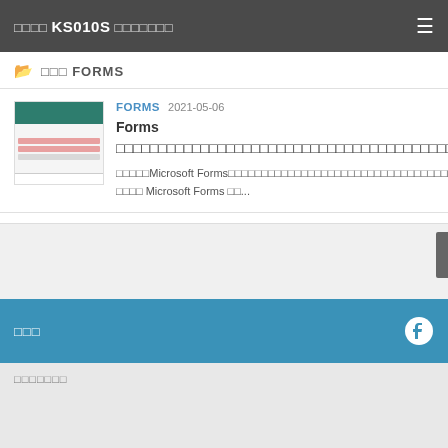□□□□ KS010S □□□□□□□
□□□ FORMS
FORMS  2021-05-06
Forms □□□□□□□□□□□□□□□□□□□□□□□□□□□□□□□□□□□□□□□□□□□□□□□□□□□□□□
□□□□□Microsoft Forms□□□□□□□□□□□□□□□□□□□□□□□□□□□□□□□□□□□□□□□□ □□□□□□□□□□ Microsoft Forms □□...
□□□
□□□□□□□